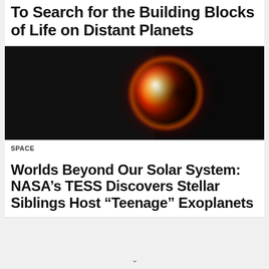To Search for the Building Blocks of Life on Distant Planets
[Figure (photo): Artist rendering of a glowing planet or exoplanet with fiery orange and red light, partially lit against a dark space background]
SPACE
Worlds Beyond Our Solar System: NASA’s TESS Discovers Stellar Siblings Host “Teenage” Exoplanets